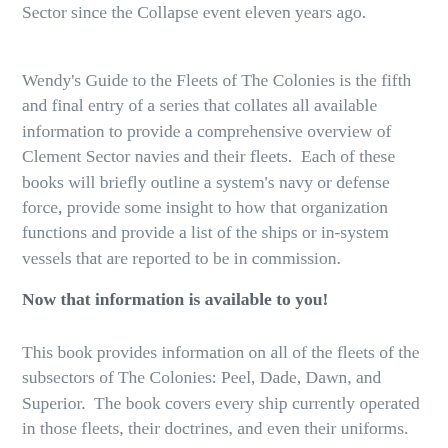Sector since the Collapse event eleven years ago.
Wendy's Guide to the Fleets of The Colonies is the fifth and final entry of a series that collates all available information to provide a comprehensive overview of Clement Sector navies and their fleets.  Each of these books will briefly outline a system's navy or defense force, provide some insight to how that organization functions and provide a list of the ships or in-system vessels that are reported to be in commission.
Now that information is available to you!
This book provides information on all of the fleets of the subsectors of The Colonies: Peel, Dade, Dawn, and Superior.  The book covers every ship currently operated in those fleets, their doctrines, and even their uniforms.  The book also contains an in-depth discussion of the Australia-class Cruiser operated by the New Perth Navy providing all of the detail you've